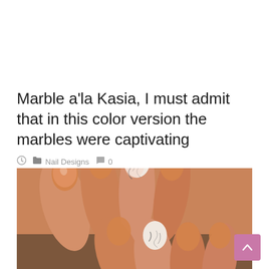Marble a'la Kasia, I must admit that in this color version the marbles were captivating
Nail Designs  0
[Figure (photo): Close-up photo of hands with painted nails — most nails have a terracotta/peach-orange solid color, while one nail on each hand features a white marble nail art design with dark veining lines]